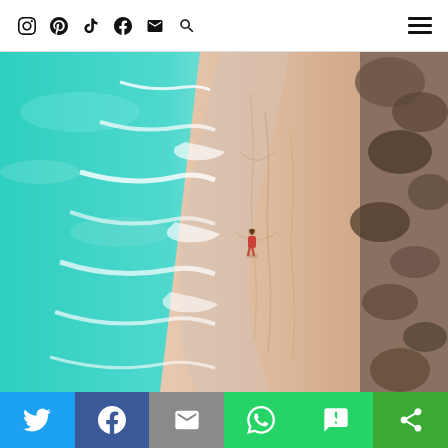Navigation bar with social icons: Instagram, Pinterest, TikTok, Facebook, Email, Search, and hamburger menu
[Figure (photo): Aerial drone view of a sandy beach with turquoise ocean waves on the left and a lone person in a red swimsuit standing on the pink-toned shoreline. Dry vegetation visible on the far right edge.]
Share bar with Twitter, Facebook, Email, WhatsApp, SMS, and other sharing icons